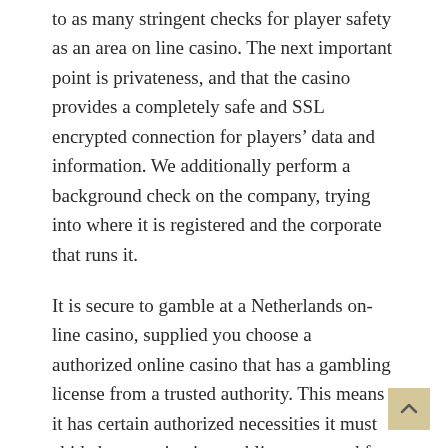to as many stringent checks for player safety as an area on line casino. The next important point is privateness, and that the casino provides a completely safe and SSL encrypted connection for players' data and information. We additionally perform a background check on the company, trying into where it is registered and the corporate that runs it.
It is secure to gamble at a Netherlands on-line casino, supplied you choose a authorized online casino that has a gambling license from a trusted authority. This means it has certain authorized necessities it must abide by to maintain gambling protected for Dutch gamers. Mobile pay is one other method Dutch gamers can maintain their financial institution details secure at a Holland online on line casino. Services such as Boku and Siru allow players to make deposits on their online Netherlands on line casino through cell phone. This deposit comes straight out of their top-up stability or will get charged to their cell phone invoice. Many Dutch